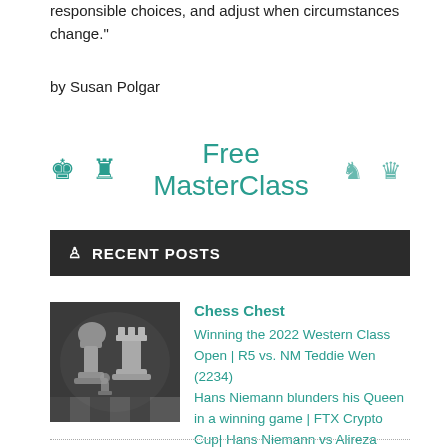responsible choices, and adjust when circumstances change."
by Susan Polgar
Free MasterClass
♙ RECENT POSTS
[Figure (photo): Black and white photo of chess pieces including a knight and rook on a chessboard]
Chess Chest
Winning the 2022 Western Class Open | R5 vs. NM Teddie Wen (2234)
Hans Niemann blunders his Queen in a winning game | FTX Crypto Cup| Hans Niemann vs Alireza Firouzja